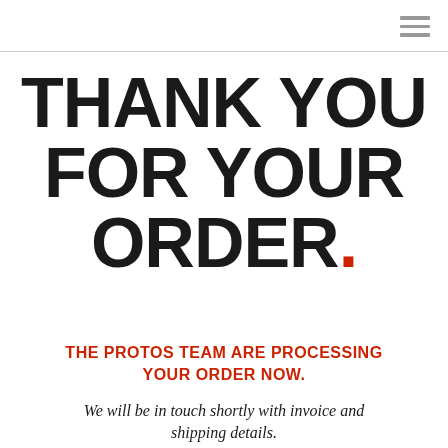THANK YOU FOR YOUR ORDER.
THE PROTOS TEAM ARE PROCESSING YOUR ORDER NOW.
We will be in touch shortly with invoice and shipping details.